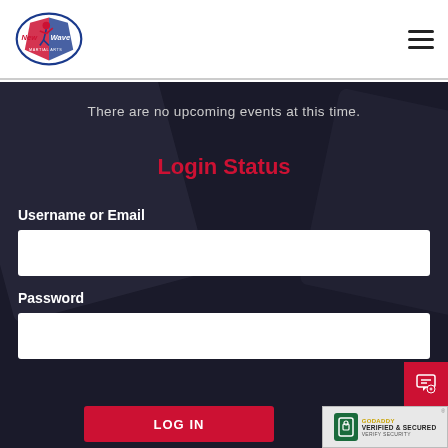[Figure (logo): New Wave Martial Arts logo with red and blue figure and text]
There are no upcoming events at this time.
Login Status
Username or Email
Password
LOG IN
[Figure (logo): GoDaddy Verified & Secured badge]